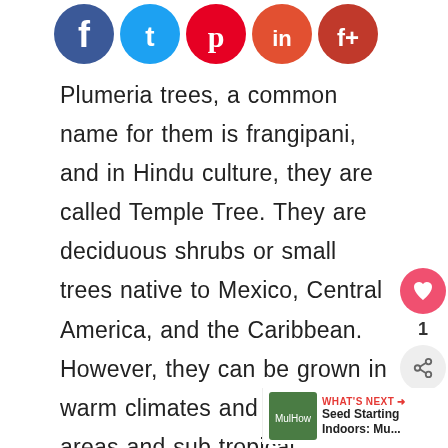[Figure (illustration): Social media share buttons: Facebook (blue), Twitter (light blue), Pinterest (red), Google+ / HuffPost (orange-red), another social icon (dark red/crimson). All circular icons at top of page.]
Plumeria trees, a common name for them is frangipani, and in Hindu culture, they are called Temple Tree. They are deciduous shrubs or small trees native to Mexico, Central America, and the Caribbean. However, they can be grown in warm climates and tropical areas and sub tropical